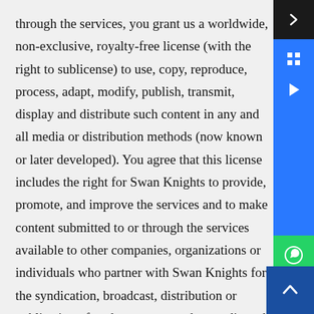through the services, you grant us a worldwide, non-exclusive, royalty-free license (with the right to sublicense) to use, copy, reproduce, process, adapt, modify, publish, transmit, display and distribute such content in any and all media or distribution methods (now known or later developed). You agree that this license includes the right for Swan Knights to provide, promote, and improve the services and to make content submitted to or through the services available to other companies, organizations or individuals who partner with Swan Knights for the syndication, broadcast, distribution or publication of such content on other media and services, subject to our terms and conditions for such content use. Such additional uses by Swan Knights, or other companies,